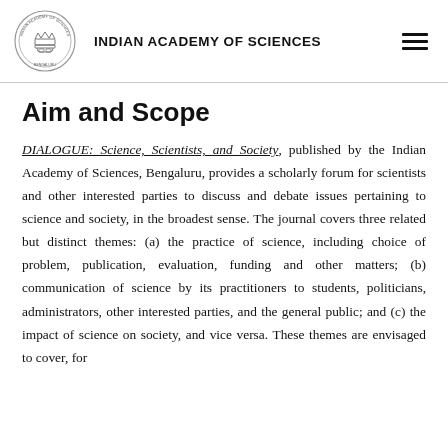INDIAN ACADEMY OF SCIENCES
Aim and Scope
DIALOGUE: Science, Scientists, and Society, published by the Indian Academy of Sciences, Bengaluru, provides a scholarly forum for scientists and other interested parties to discuss and debate issues pertaining to science and society, in the broadest sense. The journal covers three related but distinct themes: (a) the practice of science, including choice of problem, publication, evaluation, funding and other matters; (b) communication of science by its practitioners to students, politicians, administrators, other interested parties, and the general public; and (c) the impact of science on society, and vice versa. These themes are envisaged to cover, for